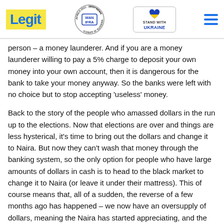Legit | WAN IFRA Best News Website in Africa 2021 | Stand with Ukraine
person – a money launderer. And if you are a money launderer willing to pay a 5% charge to deposit your own money into your own account, then it is dangerous for the bank to take your money anyway. So the banks were left with no choice but to stop accepting 'useless' money.
Back to the story of the people who amassed dollars in the run up to the elections. Now that elections are over and things are less hysterical, it's time to bring out the dollars and change it to Naira. But now they can't wash that money through the banking system, so the only option for people who have large amounts of dollars in cash is to head to the black market to change it to Naira (or leave it under their mattress). This of course means that, all of a sudden, the reverse of a few months ago has happened – we now have an oversupply of dollars, meaning the Naira has started appreciating, and the gap between the official rate and the black market has shrunk.